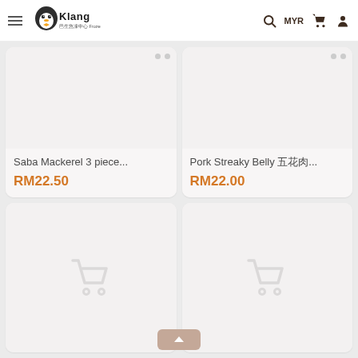Klang Frozen Centre — MYR
[Figure (screenshot): Product card: Saba Mackerel 3 piece... RM22.50]
[Figure (screenshot): Product card: Pork Streaky Belly ... RM22.00]
[Figure (screenshot): Product card placeholder with cart icon (bottom left)]
[Figure (screenshot): Product card placeholder with cart icon (bottom right)]